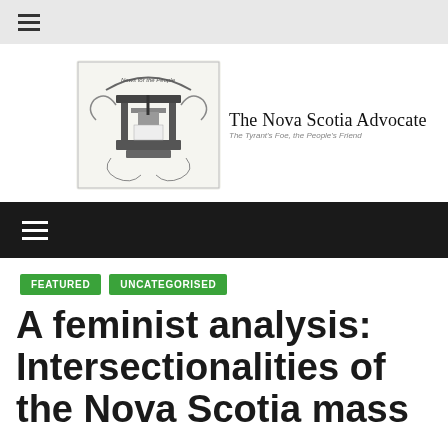≡
[Figure (logo): The Nova Scotia Advocate newspaper logo with an antique printing press illustration and tagline 'The Tyrant's Foe, the People's Friend']
FEATURED
UNCATEGORISED
A feminist analysis: Intersectionalities of the Nova Scotia mass